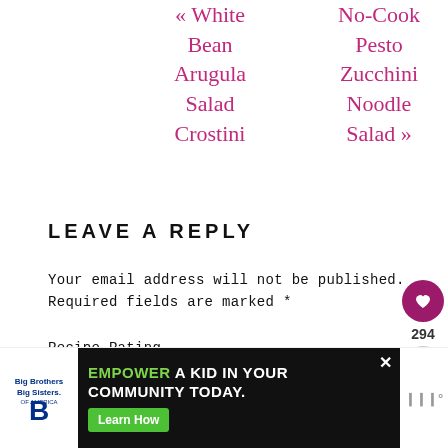« White Bean Arugula Salad Crostini
No-Cook Pesto Zucchini Noodle Salad »
LEAVE A REPLY
Your email address will not be published. Required fields are marked *
Recipe Rating
[Figure (infographic): Ad banner with Big Brothers Big Sisters logo, dark background with text 'EMPOWER A KID IN YOUR COMMUNITY TODAY.' and green Learn How button]
[Figure (infographic): Sidebar with heart icon button (294 likes) and share button]